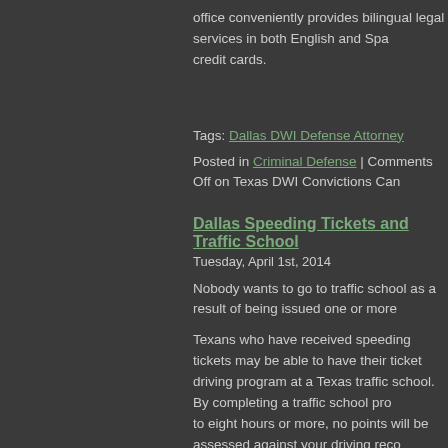office conveniently provides bilingual legal services in both English and Spanish, and accepts credit cards.
Tags: Dallas DWI Defense Attorney
Posted in Criminal Defense | Comments Off on Texas DWI Convictions Can
Dallas Speeding Tickets and Traffic School
Tuesday, April 1st, 2014
Nobody wants to go to traffic school as a result of being issued one or more
Texans who have received speeding tickets may be able to have their ticket dismissed by completing a safe driving program at a Texas traffic school. By completing a traffic school program which typically runs six to eight hours or more, no points will be assessed against your driving record and your license will remain in good standing.
While traffic school is one way to have your speeding or other traffic ticket dismissed, you may also consider having a Dallas Traffic Ticket Attorney handle your ticket for you to avoid the time commitment and protect your driver's license. Your attorney can do this by seeking an amendment to your ticket to a less serious infraction, such as a non-moving violation that will not appear on your driving record and will not cause an increase of your insurance rates.
Traffic School v. Amending Your Ticket